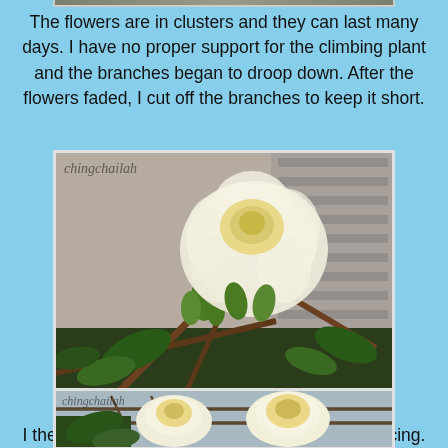[Figure (photo): Partial view of a flower/plant image at top of page, cropped strip]
The flowers are in clusters and they can last many days. I have no proper support for the climbing plant and the branches began to droop down. After the flowers faded, I cut off the branches to keep it short.
[Figure (photo): Close-up photo of a white/cream rose with green buds and brown stems, watermark 'chingchailah' in top left corner]
I then shifted the plant next to the chain link fencing.
[Figure (photo): Photo of two white/cream roses near chain link fencing, watermark 'chingchailah' in top left corner]